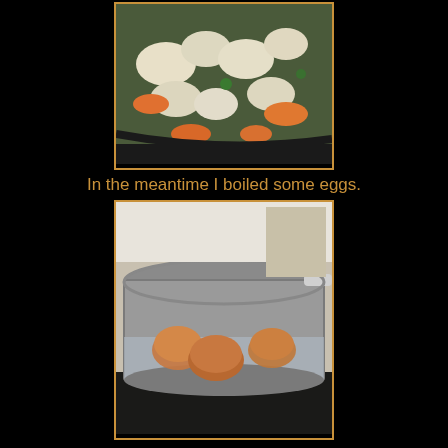[Figure (photo): Cauliflower and carrots in a steamer basket or pan]
In the meantime I boiled some eggs.
[Figure (photo): Three brown eggs boiling in a stainless steel pot on a stove]
When fork tender, I put the veggies in a glass container and made a couple cups of stock by adding organic chicken paste to remaining liquid.
[Figure (photo): Vegetables in a glass container with liquid stock]